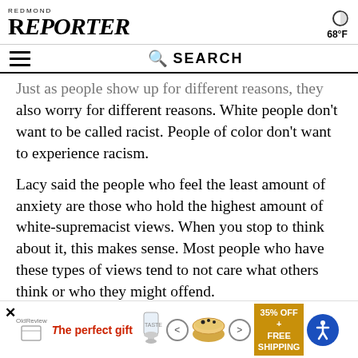REDMOND REPORTER | 68°F
Just as people show up for different reasons, they also worry for different reasons. White people don't want to be called racist. People of color don't want to experience racism.
Lacy said the people who feel the least amount of anxiety are those who hold the highest amount of white-supremacist views. When you stop to think about it, this makes sense. Most people who have these types of views tend to not care what others think or who they might offend.
on't tell me how to feel
[Figure (screenshot): Advertisement banner: The perfect gift, 35% OFF + FREE SHIPPING]